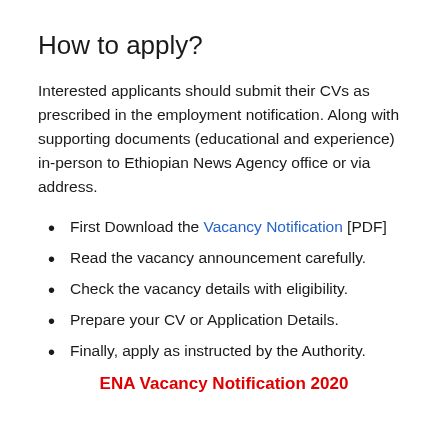How to apply?
Interested applicants should submit their CVs as prescribed in the employment notification. Along with supporting documents (educational and experience) in-person to Ethiopian News Agency office or via address.
First Download the Vacancy Notification [PDF]
Read the vacancy announcement carefully.
Check the vacancy details with eligibility.
Prepare your CV or Application Details.
Finally, apply as instructed by the Authority.
ENA Vacancy Notification 2020